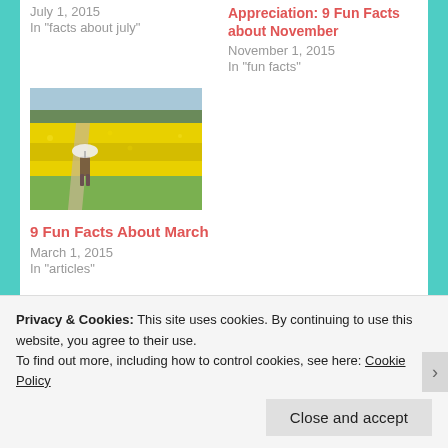July 1, 2015
In "facts about july"
Appreciation: 9 Fun Facts about November
November 1, 2015
In "fun facts"
[Figure (photo): Person with white umbrella walking along a path through a bright yellow flowering field (rapeseed/canola), with trees in the background and green grass.]
9 Fun Facts About March
March 1, 2015
In "articles"
Privacy & Cookies: This site uses cookies. By continuing to use this website, you agree to their use.
To find out more, including how to control cookies, see here: Cookie Policy
Close and accept